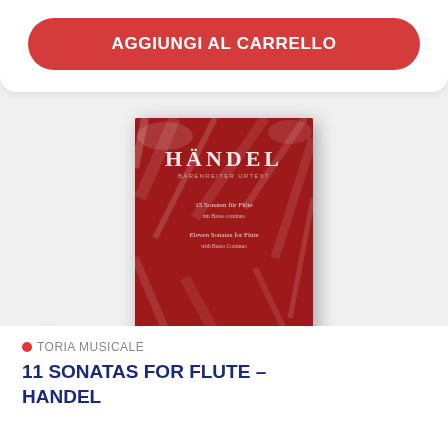AGGIUNGI AL CARRELLO
[Figure (photo): Red book cover of Handel Sonatas for Flute, Bärenreiter edition, wrapped in plastic]
TORIA MUSICALE
11 SONATAS FOR FLUTE – HANDEL